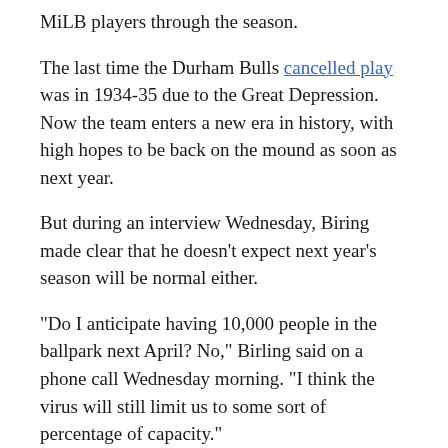MiLB players through the season.
The last time the Durham Bulls cancelled play was in 1934-35 due to the Great Depression. Now the team enters a new era in history, with high hopes to be back on the mound as soon as next year.
But during an interview Wednesday, Biring made clear that he doesn’t expect next year’s season will be normal either.
“Do I anticipate having 10,000 people in the ballpark next April? No,” Birling said on a phone call Wednesday morning. “I think the virus will still limit us to some sort of percentage of capacity.”
9th Street Journal reporter Daniela Schneider can be reached at daniela.schneider@duke.edu